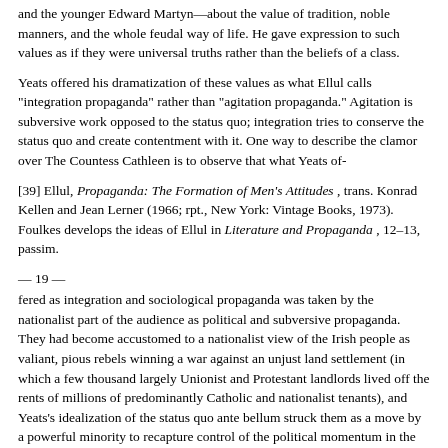and the younger Edward Martyn—about the value of tradition, noble manners, and the whole feudal way of life. He gave expression to such values as if they were universal truths rather than the beliefs of a class.
Yeats offered his dramatization of these values as what Ellul calls "integration propaganda" rather than "agitation propaganda." Agitation is subversive work opposed to the status quo; integration tries to conserve the status quo and create contentment with it. One way to describe the clamor over The Countess Cathleen is to observe that what Yeats of-
[39] Ellul, Propaganda: The Formation of Men's Attitudes , trans. Konrad Kellen and Jean Lerner (1966; rpt., New York: Vintage Books, 1973). Foulkes develops the ideas of Ellul in Literature and Propaganda , 12–13, passim.
— 19 —
fered as integration and sociological propaganda was taken by the nationalist part of the audience as political and subversive propaganda. They had become accustomed to a nationalist view of the Irish people as valiant, pious rebels winning a war against an unjust land settlement (in which a few thousand largely Unionist and Protestant landlords lived off the rents of millions of predominantly Catholic and nationalist tenants), and Yeats's idealization of the status quo ante bellum struck them as a move by a powerful minority to recapture control of the political momentum in the country. They refused to assimilate the values of the aristocracy as their own. Furthermore, because the setting